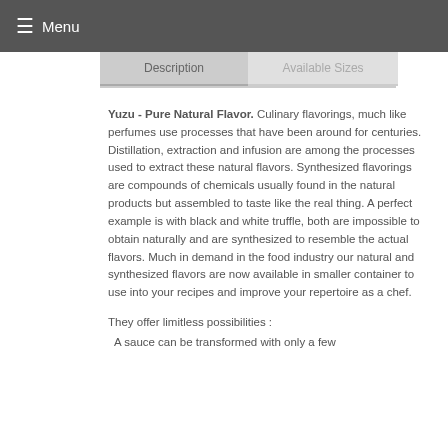☰ Menu
| Description | Available Sizes |
| --- | --- |
Yuzu - Pure Natural Flavor. Culinary flavorings, much like perfumes use processes that have been around for centuries. Distillation, extraction and infusion are among the processes used to extract these natural flavors. Synthesized flavorings are compounds of chemicals usually found in the natural products but assembled to taste like the real thing. A perfect example is with black and white truffle, both are impossible to obtain naturally and are synthesized to resemble the actual flavors. Much in demand in the food industry our natural and synthesized flavors are now available in smaller container to use into your recipes and improve your repertoire as a chef.
They offer limitless possibilities :
A sauce can be transformed with only a few